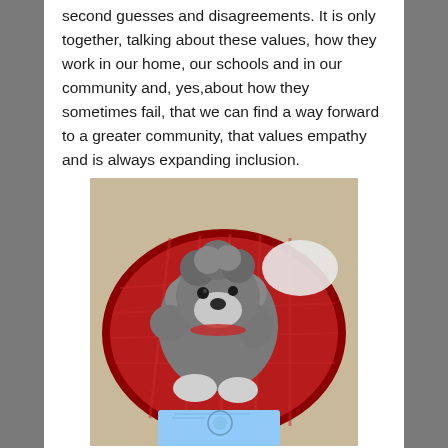second guesses and disagreements. It is only together, talking about these values, how they work in our home, our schools and in our community and, yes,about how they sometimes fail, that we can find a way forward to a greater community, that values empathy and is always expanding inclusion.
[Figure (photo): A small gray and white fluffy dog (poodle mix) sitting on a round red plaid dog bed, looking up at the camera. In front of the dog is a light blue book with a circular emblem on the cover. The scene is on a tan/beige floor.]